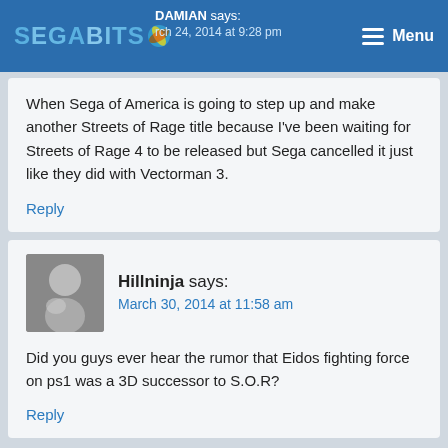SEGABITS | DAMIAN says: March 24, 2014 at 9:28 pm | Menu
When Sega of America is going to step up and make another Streets of Rage title because I've been waiting for Streets of Rage 4 to be released but Sega cancelled it just like they did with Vectorman 3.
Reply
Hillninja says: March 30, 2014 at 11:58 am
Did you guys ever hear the rumor that Eidos fighting force on ps1 was a 3D successor to S.O.R?
Reply